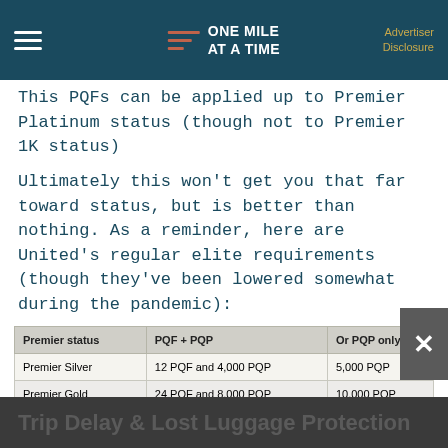ONE MILE AT A TIME | Advertiser Disclosure
This PQFs can be applied up to Premier Platinum status (though not to Premier 1K status)
Ultimately this won't get you that far toward status, but is better than nothing. As a reminder, here are United's regular elite requirements (though they've been lowered somewhat during the pandemic):
| Premier status | PQF + PQP | Or PQP only |
| --- | --- | --- |
| Premier Silver | 12 PQF and 4,000 PQP | 5,000 PQP |
| Premier Gold | 24 PQF and 8,000 PQP | 10,000 PQP |
| Premier Platinum | 36 PQF and 12,000 PQP | 15,000 PQP |
| Premier 1K | 54 PQF and 18,000 PQP | 24,000 PQP |
Trip Delay & Lost Luggage Protection